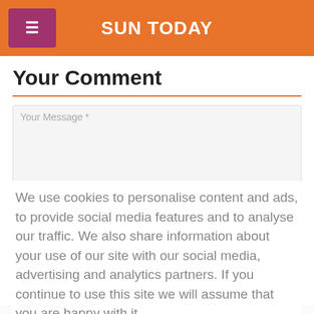SUN TODAY
Your Comment
Your Message *
We use cookies to personalise content and ads, to provide social media features and to analyse our traffic. We also share information about your use of our site with our social media, advertising and analytics partners. If you continue to use this site we will assume that you are happy with it.
Your Name *
More information.
Your Email *
Agree and close
Comment